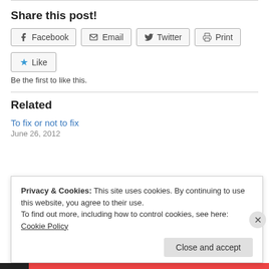Share this post!
[Figure (other): Social share buttons: Facebook, Email, Twitter, Print]
[Figure (other): Like button with star icon]
Be the first to like this.
Related
To fix or not to fix
June 26, 2012
Privacy & Cookies: This site uses cookies. By continuing to use this website, you agree to their use.
To find out more, including how to control cookies, see here: Cookie Policy